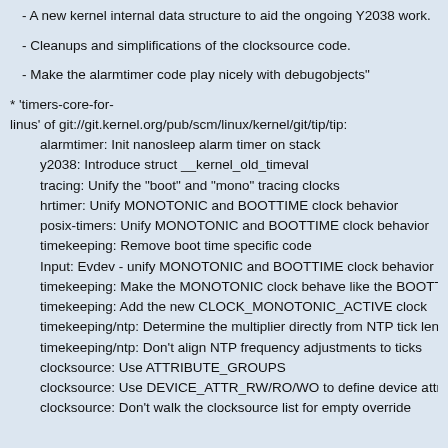- A new kernel internal data structure to aid the ongoing Y2038 work.
- Cleanups and simplifications of the clocksource code.
- Make the alarmtimer code play nicely with debugobjects"
* 'timers-core-for-linus' of git://git.kernel.org/pub/scm/linux/kernel/git/tip/tip:
  alarmtimer: Init nanosleep alarm timer on stack
  y2038: Introduce struct __kernel_old_timeval
  tracing: Unify the "boot" and "mono" tracing clocks
  hrtimer: Unify MONOTONIC and BOOTTIME clock behavior
  posix-timers: Unify MONOTONIC and BOOTTIME clock behavior
  timekeeping: Remove boot time specific code
  Input: Evdev - unify MONOTONIC and BOOTTIME clock behavior
  timekeeping: Make the MONOTONIC clock behave like the BOOTTIME clo
  timekeeping: Add the new CLOCK_MONOTONIC_ACTIVE clock
  timekeeping/ntp: Determine the multiplier directly from NTP tick length
  timekeeping/ntp: Don't align NTP frequency adjustments to ticks
  clocksource: Use ATTRIBUTE_GROUPS
  clocksource: Use DEVICE_ATTR_RW/RO/WO to define device attributes
  clocksource: Don't walk the clocksource list for empty override